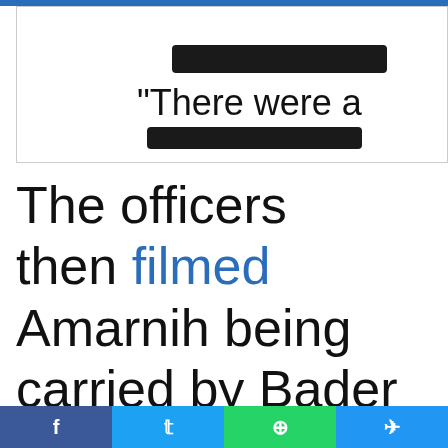[Figure (screenshot): Partial quote box with redacted text bars above and below the phrase “There were a”]
The officers then filmed Amarnih being carried by Bader and another journalist toward a vehicle; none of the
f   t   ©   ➞